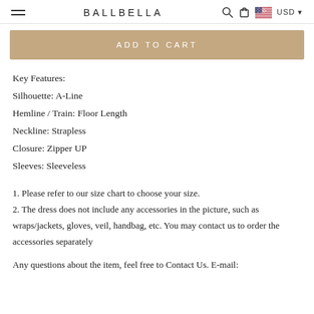BALLBELLA USD
ADD TO CART
Key Features:
Silhouette: A-Line
Hemline / Train: Floor Length
Neckline: Strapless
Closure: Zipper UP
Sleeves: Sleeveless
1. Please refer to our size chart to choose your size.
2. The dress does not include any accessories in the picture, such as wraps/jackets, gloves, veil, handbag, etc. You may contact us to order the accessories separately
Any questions about the item, feel free to Contact Us. E-mail: